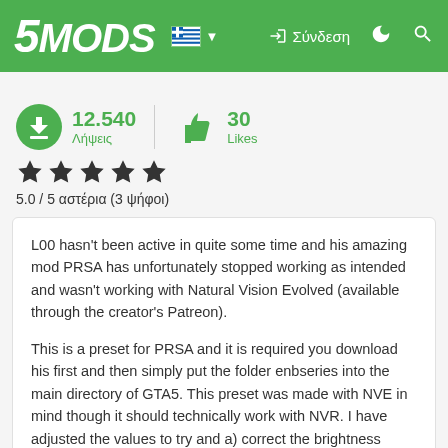5MODS — Σύνδεση
12.540 Λήψεις  30 Likes
5.0 / 5 αστέρια (3 ψήφοι)
L00 hasn't been active in quite some time and his amazing mod PRSA has unfortunately stopped working as intended and wasn't working with Natural Vision Evolved (available through the creator's Patreon).

This is a preset for PRSA and it is required you download his first and then simply put the folder enbseries into the main directory of GTA5. This preset was made with NVE in mind though it should technically work with NVR. I have adjusted the values to try and a) correct the brightness issue ( black screen